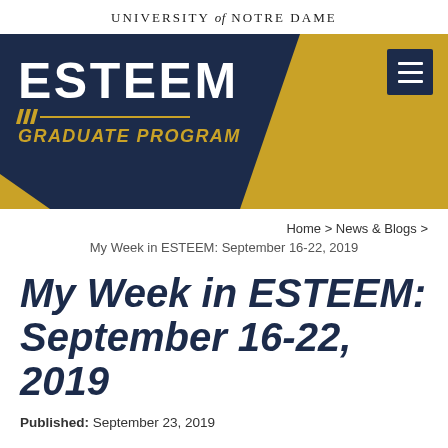UNIVERSITY of NOTRE DAME
[Figure (logo): ESTEEM Graduate Program logo on a dark navy and gold diagonal banner background with hamburger menu icon]
Home > News & Blogs >
My Week in ESTEEM: September 16-22, 2019
My Week in ESTEEM: September 16-22, 2019
Published: September 23, 2019